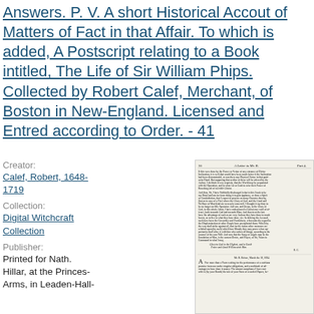Answers. P. V. A short Historical Accout of Matters of Fact in that Affair. To which is added, A Postscript relating to a Book intitled, The Life of Sir William Phips. Collected by Robert Calef, Merchant, of Boston in New-England. Licensed and Entred according to Order. - 41
Creator:
Calef, Robert, 1648-1719
Collection:
Digital Witchcraft Collection
Publisher:
Printed for Nath. Hillar, at the Princes-Arms, in Leaden-Hall-
[Figure (screenshot): Scanned page from a historical document showing page 30, titled 'A Letter to Mr. B.' Part 4. Contains dense text in an old English typeface discussing faithfully discharging duty. Includes an italic closing and the beginning of a new letter addressed to Mr. B., dated March the 18, 1694.]